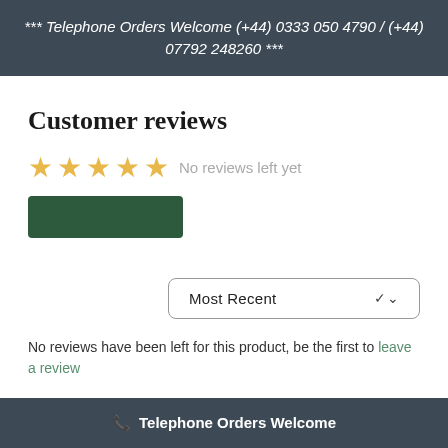*** Telephone Orders Welcome (+44) 0333 050 4790 / (+44) 07792 248260 ***
Customer reviews
No reviews left yet
[Figure (other): Green button (write a review or similar)]
[Figure (other): Most Recent dropdown selector with chevron]
No reviews have been left for this product, be the first to leave a review
Telephone Orders Welcome